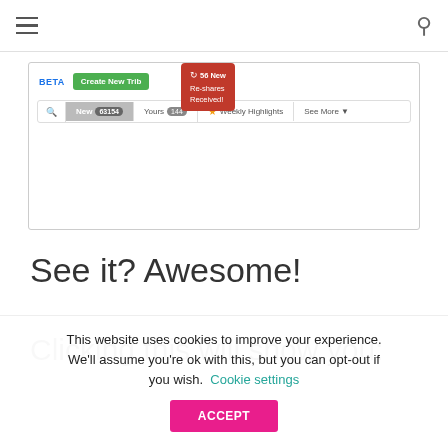[Figure (screenshot): Web browser screenshot showing a BETA navigation bar with 'Create New Trib...' green button, a red tooltip popup showing '56 New Re-shares Received!', and tab navigation showing 'New 63154', 'Yours 144', 'Weekly Highlights', 'See More']
See it? Awesome!
Clicking this will show you:
This website uses cookies to improve your experience. We'll assume you're ok with this, but you can opt-out if you wish.
Cookie settings
ACCEPT